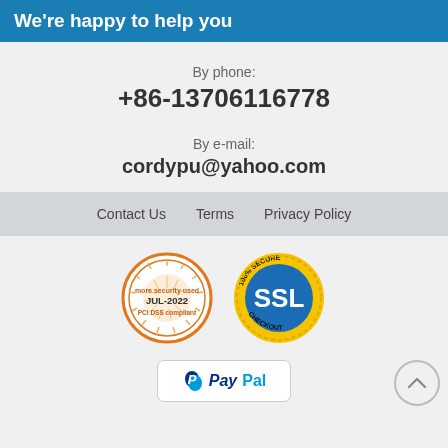We're happy to help you
By phone:
+86-13706116778
By e-mail:
cordypu@yahoo.com
Contact Us   Terms   Privacy Policy
[Figure (logo): PCI DSS compliant badge - circular orange/white badge reading 'more security used', 'JUL-2022', 'PCI DSS compliant']
[Figure (logo): 100% Secure SSL Checkout badge - circular yellow/blue badge with SSL text]
[Figure (logo): PayPal payment logo in white rounded rectangle box]